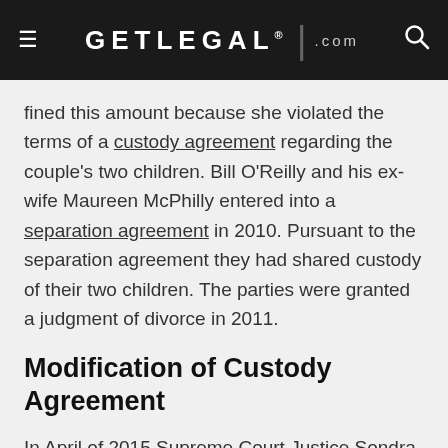GETLEGAL.com
fined this amount because she violated the terms of a custody agreement regarding the couple's two children. Bill O'Reilly and his ex-wife Maureen McPhilly entered into a separation agreement in 2010. Pursuant to the separation agreement they had shared custody of their two children. The parties were granted a judgment of divorce in 2011.
Modification of Custody Agreement
In April of 2015 Supreme Court Justice Sondra